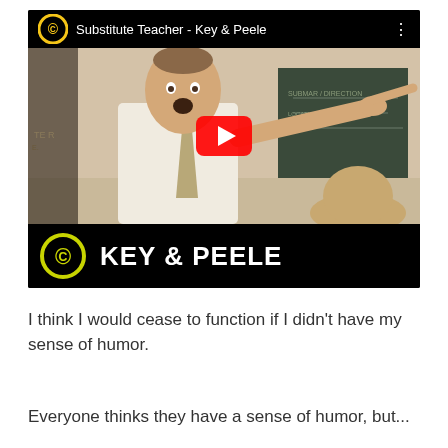[Figure (screenshot): YouTube video thumbnail for 'Substitute Teacher - Key & Peele'. Shows a man in a white shirt and tie pointing aggressively in a classroom setting. Comedy Central logo and 'KEY & PEELE' text displayed at bottom of video player. Red YouTube play button in center.]
I think I would cease to function if I didn't have my sense of humor.
Everyone thinks they have a sense of humor, but...